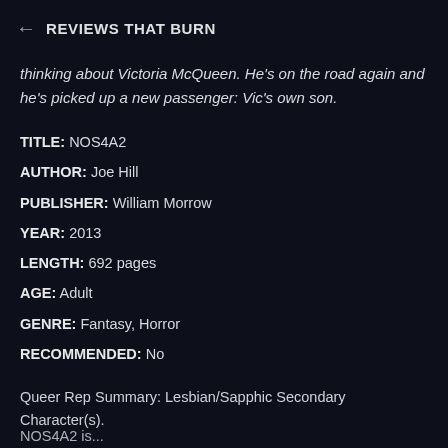← REVIEWS THAT BURN
thinking about Victoria McQueen. He's on the road again and he's picked up a new passenger: Vic's own son.
TITLE: NOS4A2
AUTHOR: Joe Hill
PUBLISHER: William Morrow
YEAR: 2013
LENGTH: 692 pages
AGE: Adult
GENRE: Fantasy, Horror
RECOMMENDED: No
Queer Rep Summary: Lesbian/Sapphic Secondary Character(s).
NOS4A2 is...